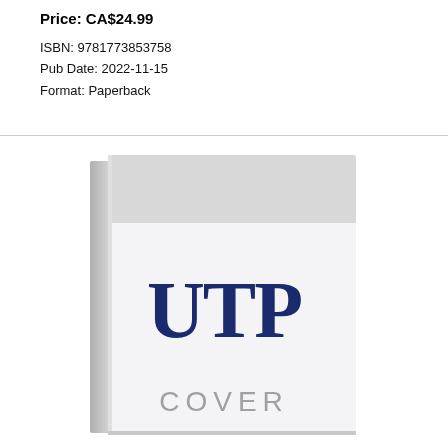Price: CA$24.99
ISBN: 9781773853758
Pub Date: 2022-11-15
Format: Paperback
[Figure (illustration): UTP (University of Toronto Press) book cover placeholder. A hardcover book with a white front cover showing the 'UTP' logo in dark navy blue serif font and the word 'COVER' in grey below it. The top portion of the cover is light grey.]